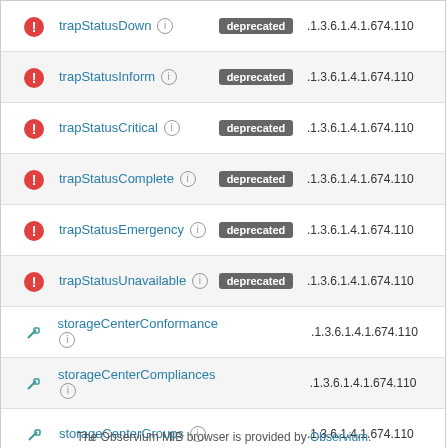| Icon | Name | Status | OID |
| --- | --- | --- | --- |
| error | trapStatusDown | deprecated | .1.3.6.1.4.1.674.110 |
| error | trapStatusInform | deprecated | .1.3.6.1.4.1.674.110 |
| error | trapStatusCritical | deprecated | .1.3.6.1.4.1.674.110 |
| error | trapStatusComplete | deprecated | .1.3.6.1.4.1.674.110 |
| error | trapStatusEmergency | deprecated | .1.3.6.1.4.1.674.110 |
| error | trapStatusUnavailable | deprecated | .1.3.6.1.4.1.674.110 |
| link | storageCenterConformance |  | .1.3.6.1.4.1.674.110 |
| link | storageCenterCompliances |  | .1.3.6.1.4.1.674.110 |
| link | storageCenterGroups |  | .1.3.6.1.4.1.674.110 |
The Observium MIB browser is provided by Observium.